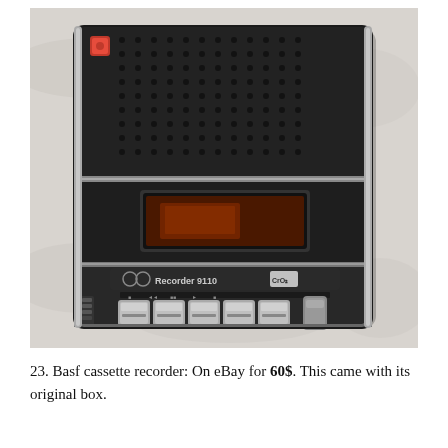[Figure (photo): A BASF CC Recorder 9110 cassette recorder photographed from above on a white/grey wrinkled cloth background. The device is black with a speaker grille on the top half featuring a red indicator button, a cassette compartment in the middle with a red/orange window, a label reading 'CC Recorder 9110 CrO2', and five rectangular push buttons at the bottom plus a dial/knob on the right side.]
23. Basf cassette recorder: On eBay for 60$. This came with its original box.